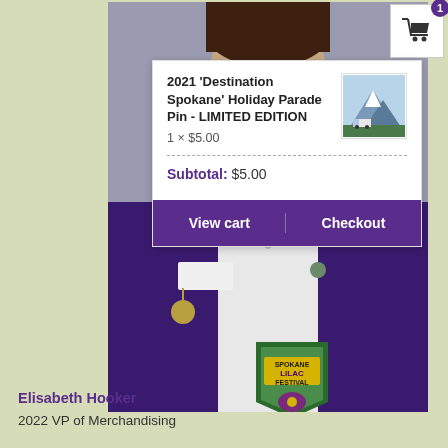[Figure (screenshot): Shopping cart icon with badge showing 1 item, top right corner]
[Figure (photo): Woman in purple blazer with Spokane Lilac Festival patch and pins, portrait photo against grey background]
[Figure (screenshot): Shopping cart dropdown panel showing: 2021 'Destination Spokane' Holiday Parade Pin - LIMITED EDITION, 1 x $5.00, Subtotal: $5.00, View cart and Checkout buttons, with product thumbnail]
Elisabeth Hooker
2022 VP of Merchandising